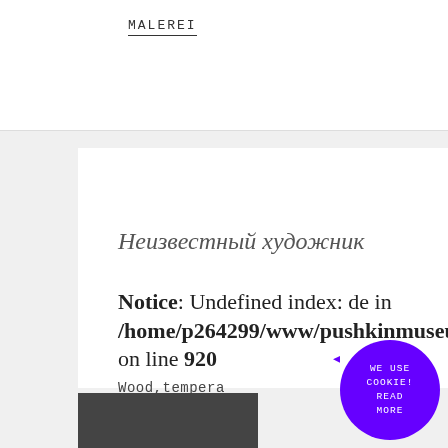MALEREI
Неизвестный художник
Notice: Undefined index: de in /home/p264299/www/pushkinmuseum.art/data/fo... on line 920
Wood,tempera
MALEREI
[Figure (other): Cookie notice circular badge with purple background reading: WE USE COOKIE! READ MORE]
[Figure (photo): Partial image visible at bottom of page]